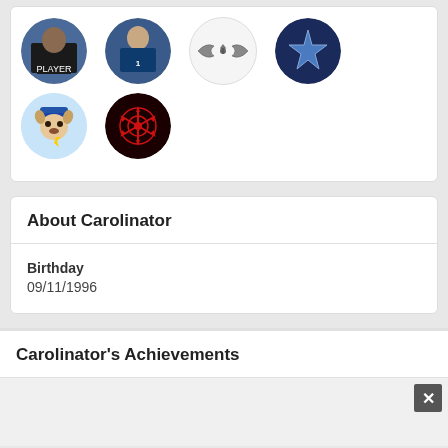[Figure (illustration): A card showing 6 circular avatar icons in 2 rows: football player, Carolina Panthers player, wings logo, Cowboys star logo (top row); PAW Patrol Chase, Star Wars Sith logo (bottom row)]
About Carolinator
Birthday
09/11/1996
Carolinator's Achievements